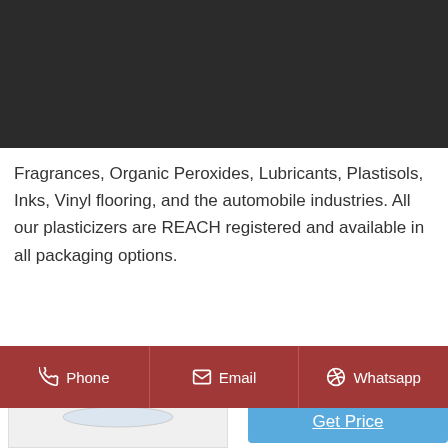[Figure (screenshot): Website screenshot showing a dark navigation bar with a green circular logo for Shenaniso Biotech, a hamburger menu icon, and product description text for Soyventis plasticizers, along with Send Inquiry and Get Price buttons, a product image area, Plasticizers section heading, contact bar with Phone, Email, Whatsapp, and Di-Octyl heading.]
Soyventis carries an entire range of plasticizers suited for applications in Vinyl Films, Food Grade Films, Wire and Cable, Footwear, Fragrances, Organic Peroxides, Lubricants, Plastisols, Inks, Vinyl flooring, and the automobile industries. All our plasticizers are REACH registered and available in all packaging options.
Send Inquiry
Get Price
Plasticizers
Phone   Email   Whatsapp
(Di Octyl